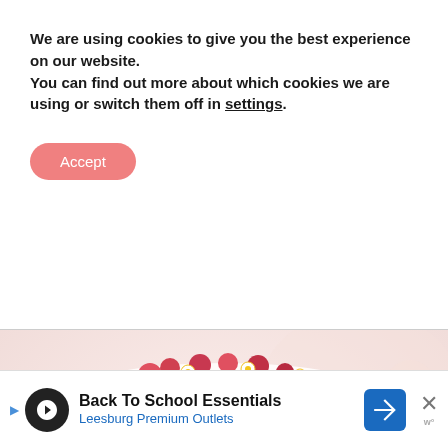We are using cookies to give you the best experience on our website.
You can find out more about which cookies we are using or switch them off in settings.
Accept
[Figure (photo): Close-up photo of a white frosted cake decorated with pink roses and small daisy flowers around the base and top edge.]
BACK TO TOP
Back To School Essentials
Leesburg Premium Outlets